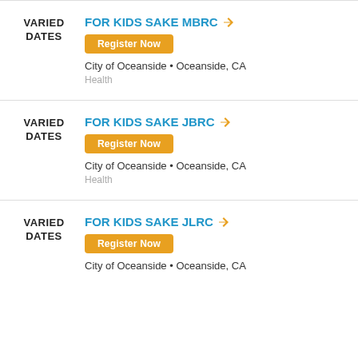VARIED DATES | FOR KIDS SAKE MBRC | Register Now | City of Oceanside • Oceanside, CA | Health
VARIED DATES | FOR KIDS SAKE JBRC | Register Now | City of Oceanside • Oceanside, CA | Health
VARIED DATES | FOR KIDS SAKE JLRC | Register Now | City of Oceanside • Oceanside, CA